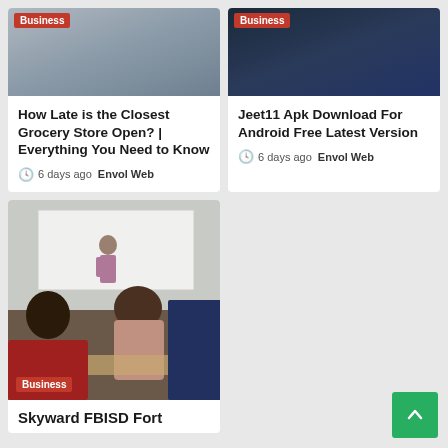[Figure (photo): Article card image for grocery store article with Business badge]
How Late is the Closest Grocery Store Open? | Everything You Need to Know
6 days ago  Envol Web
[Figure (photo): Article card image for Jeet11 article with Business badge]
Jeet11 Apk Download For Android Free Latest Version
6 days ago  Envol Web
[Figure (photo): Classroom photo showing teacher and students, with Business badge overlay]
Skyward FBISD Fort